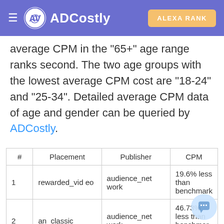ADCostly | ALEXA RANK
average CPM in the "65+" age range ranks second. The two age groups with the lowest average CPM cost are "18-24" and "25-34". Detailed average CPM data of age and gender can be queried by ADCostly.
| # | Placement | Publisher | CPM |
| --- | --- | --- | --- |
| 1 | rewarded_video | audience_network | 19.6% less than benchmark |
| 2 | an_classic | audience_network | 46.73% less than benchmark |
| 3 | facebook_stories | facebook | 6.53% less than benchmark |